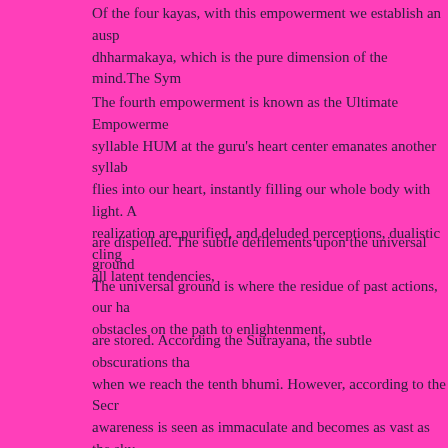Of the four kayas, with this empowerment we establish an ausp dhharmakaya, which is the pure dimension of the mind.The Sym
The fourth empowerment is known as the Ultimate Empowerme syllable HUM at the guru's heart center emanates another syllab flies into our heart, instantly filling our whole body with light. A realization are purified, and deluded perceptions, dualistic cling all latent tendencies,
are dispelled. The subtle defilements upon the universal ground The universal ground is where the residue of past actions, our ha obstacles on the path to enlightenment,
are stored. According the Sutrayana, the subtle obscurations tha when we reach the tenth bhumi. However, according to the Secr awareness is seen as immaculate and becomes as vast as the sky the knowable are dissolved. Now all the subtle stains caused by the ten unvirtuous actions o